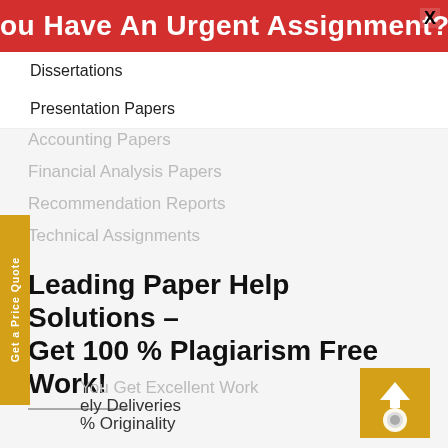ou Have An Urgent Assignment? Get Help No
Dissertations
Presentation Papers
Accounting Papers
Financial Analysis Papers
Recommendation Reports
Technical Assignments
Leading Paper Help Solutions – Get 100 % Plagiarism Free Work!
You Get Excellent Work
ely Deliveries
% Originality
e Amendments
y Qualified Experts
aranteed Privacy
ney BAck guarantee